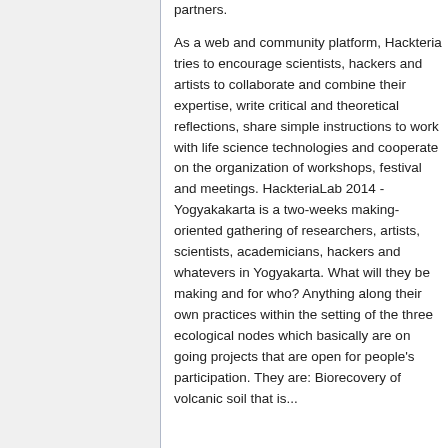partners. As a web and community platform, Hackteria tries to encourage scientists, hackers and artists to collaborate and combine their expertise, write critical and theoretical reflections, share simple instructions to work with life science technologies and cooperate on the organization of workshops, festival and meetings. HackteriaLab 2014 - Yogyakakarta is a two-weeks making-oriented gathering of researchers, artists, scientists, academicians, hackers and whatevers in Yogyakarta. What will they be making and for who? Anything along their own practices within the setting of the three ecological nodes which basically are on going projects that are open for people's participation. They are: Biorecovery of volcanic soil that is...